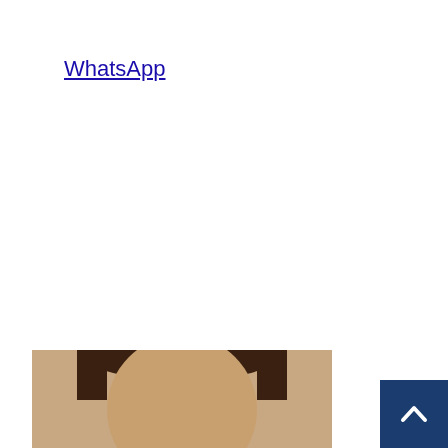WhatsApp
[Figure (logo): Follow us on Google News badge with Google News icon]
[Figure (photo): Person's face/head photo, partially cropped at bottom of page]
[Figure (other): Back to top button - dark blue square with upward chevron arrow]